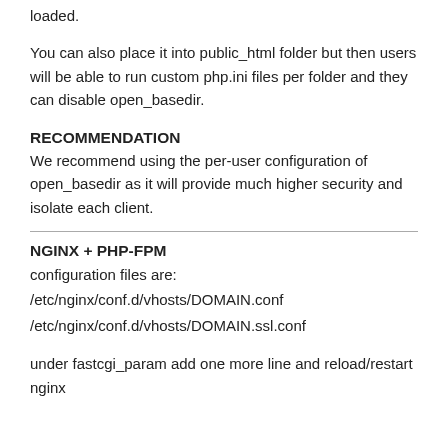loaded.
You can also place it into public_html folder but then users will be able to run custom php.ini files per folder and they can disable open_basedir.
RECOMMENDATION
We recommend using the per-user configuration of open_basedir as it will provide much higher security and isolate each client.
NGINX + PHP-FPM
configuration files are:
/etc/nginx/conf.d/vhosts/DOMAIN.conf
/etc/nginx/conf.d/vhosts/DOMAIN.ssl.conf
under fastcgi_param add one more line and reload/restart nginx